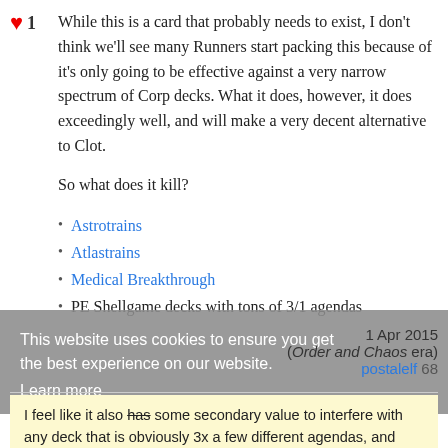While this is a card that probably needs to exist, I don't think we'll see many Runners start packing this because of it's only going to be effective against a very narrow spectrum of Corp decks. What it does, however, it does exceedingly well, and will make a very decent alternative to Clot.

So what does it kill?
Astrotrains
Atlastrains
Medical Breakthrough
PE Shellgame decks with tons of 3/1 agendas
1 Apr 2015
(Order and Chaos era)
postalelf 68
I feel like it also has some secondary value to interfere with any deck that is obviously 3x a few different agendas, and also just as a Current to counter Corp Currents. — Ber 1 Apr 2015